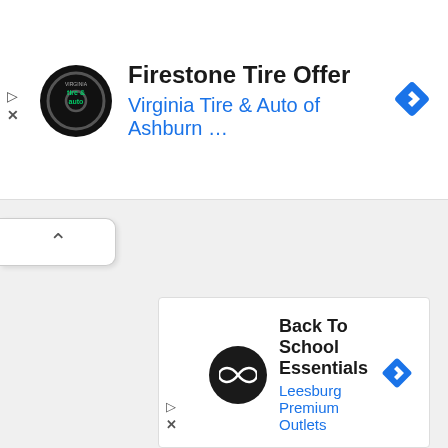[Figure (screenshot): Top advertisement card: Virginia Tire & Auto of Ashburn logo (circular black badge with tire and auto text), ad title 'Firestone Tire Offer', subtitle 'Virginia Tire & Auto of Ashburn …', blue navigation diamond icon on right, play and X controls on left side]
[Figure (screenshot): Collapse/minimize tab button with upward-pointing chevron (^)]
[Figure (screenshot): Bottom advertisement card: Back To School Essentials from Leesburg Premium Outlets, circular dark logo with infinity/loop symbol, blue navigation diamond icon, play and X controls on left]